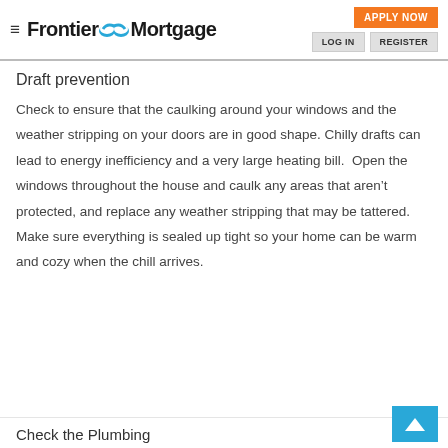Frontier Mortgage — APPLY NOW | LOG IN | REGISTER
Draft prevention
Check to ensure that the caulking around your windows and the weather stripping on your doors are in good shape. Chilly drafts can lead to energy inefficiency and a very large heating bill.  Open the windows throughout the house and caulk any areas that aren't protected, and replace any weather stripping that may be tattered. Make sure everything is sealed up tight so your home can be warm and cozy when the chill arrives.
Check the Plumbing